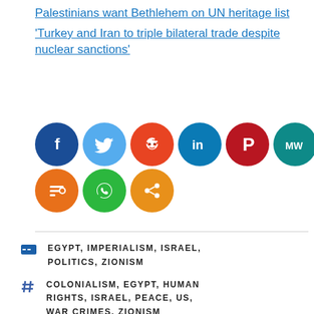Palestinians want Bethlehem on UN heritage list
'Turkey and Iran to triple bilateral trade despite nuclear sanctions'
[Figure (infographic): Social media share buttons: Facebook (dark blue), Twitter (light blue), Reddit (orange-red), LinkedIn (teal), Pinterest (dark red), MW (teal), Mix (orange), WhatsApp (green), Share (orange)]
EGYPT, IMPERIALISM, ISRAEL, POLITICS, ZIONISM
COLONIALISM, EGYPT, HUMAN RIGHTS, ISRAEL, PEACE, US, WAR CRIMES, ZIONISM